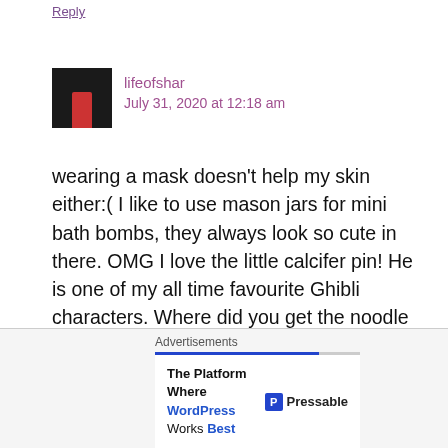Reply
lifeofshar
July 31, 2020 at 12:18 am
wearing a mask doesn't help my skin either:( I like to use mason jars for mini bath bombs, they always look so cute in there. OMG I love the little calcifer pin! He is one of my all time favourite Ghibli characters. Where did you get the noodle phonecase from? I actually love it, it is weird but I still love it haha. It is so scary that
Advertisements
The Platform Where WordPress Works Best  Pressable